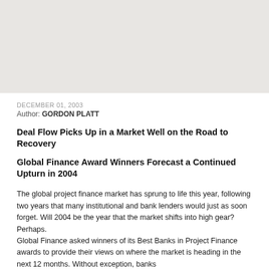[Figure (photo): Light gray rectangular image placeholder at the top of the page]
DECEMBER 01, 2003
Author: GORDON PLATT
Deal Flow Picks Up in a Market Well on the Road to Recovery
Global Finance Award Winners Forecast a Continued Upturn in 2004
The global project finance market has sprung to life this year, following two years that many institutional and bank lenders would just as soon forget. Will 2004 be the year that the market shifts into high gear? Perhaps.
Global Finance asked winners of its Best Banks in Project Finance awards to provide their views on where the market is heading in the next 12 months. Without exception, banks